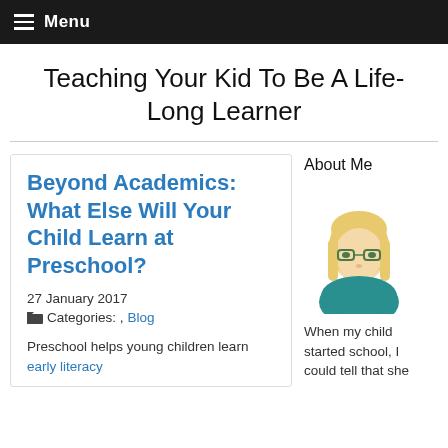Menu
Teaching Your Kid To Be A Life-Long Learner
Beyond Academics: What Else Will Your Child Learn at Preschool?
27 January 2017
Categories: , Blog
Preschool helps young children learn early literacy
About Me
[Figure (illustration): Cartoon avatar of a woman with blonde hair and glasses wearing a teal top]
When my child started school, I could tell that she